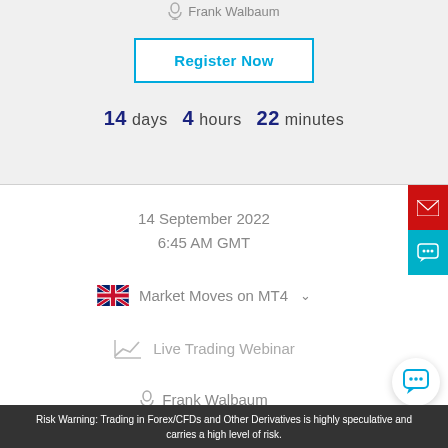Frank Walbaum
Register Now
14 days  4 hours  22 minutes
14 September 2022
6:45 AM GMT
Market Moves on MT4
Live Trading Webinar
Frank Walbaum
Risk Warning: Trading in Forex/CFDs and Other Derivatives is highly speculative and carries a high level of risk.